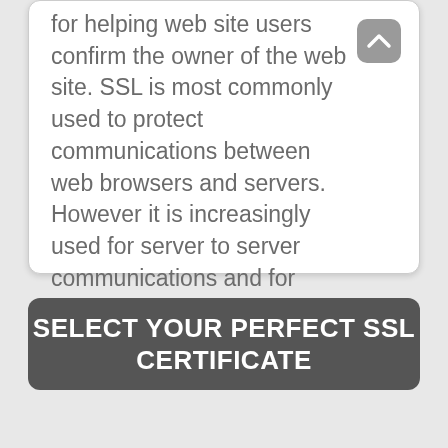for helping web site users confirm the owner of the web site. SSL is most commonly used to protect communications between web browsers and servers. However it is increasingly used for server to server communications and for web-based applications.
SELECT YOUR PERFECT SSL CERTIFICATE